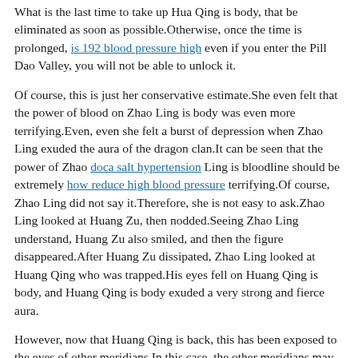What is the last time to take up Hua Qing is body, that be eliminated as soon as possible.Otherwise, once the time is prolonged, is 192 blood pressure high even if you enter the Pill Dao Valley, you will not be able to unlock it.
Of course, this is just her conservative estimate.She even felt that the power of blood on Zhao Ling is body was even more terrifying.Even, even she felt a burst of depression when Zhao Ling exuded the aura of the dragon clan.It can be seen that the power of Zhao doca salt hypertension Ling is bloodline should be extremely how reduce high blood pressure terrifying.Of course, Zhao Ling did not say it.Therefore, she is not easy to ask.Zhao Ling looked at Huang Zu, then nodded.Seeing Zhao Ling understand, Huang Zu also smiled, and then the figure disappeared.After Huang Zu dissipated, Zhao Ling looked at Huang Qing who was trapped.His eyes fell on Huang Qing is body, and Huang Qing is body exuded a very strong and fierce aura.
However, now that Huang Qing is back, this has been exposed to the eyes of other meridians.In this case, the other meridians may join forces to completely suppress his meridian, and even say that they have problems even surviving.
Although their alchemy skills are very high, they do not know anything about formations.Moreover, if you want to break the early age high blood pressure High Blood Pressure Med Term formation,